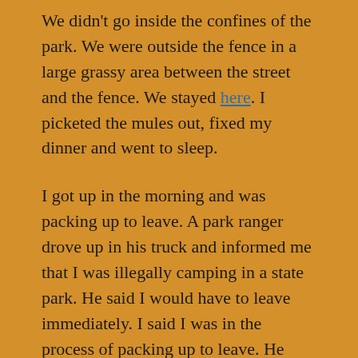We didn't go inside the confines of the park. We were outside the fence in a large grassy area between the street and the fence. We stayed here. I picketed the mules out, fixed my dinner and went to sleep.
I got up in the morning and was packing up to leave. A park ranger drove up in his truck and informed me that I was illegally camping in a state park. He said I would have to leave immediately. I said I was in the process of packing up to leave. He said that if I didn't leave immediately or if I ever showed up again, I would be subject to arrest and the animals would be impounded. I packed up and left.